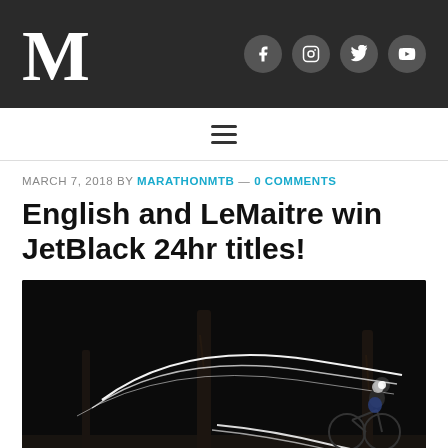M — website header with social icons (Facebook, Instagram, Twitter, YouTube)
MARCH 7, 2018 BY MARATHONMTB — 0 COMMENTS
English and LeMaitre win JetBlack 24hr titles!
[Figure (photo): Night photograph of a mountain bike rider cycling through a dark forest, with light trails from the bike headlight creating sweeping arc patterns across the frame.]